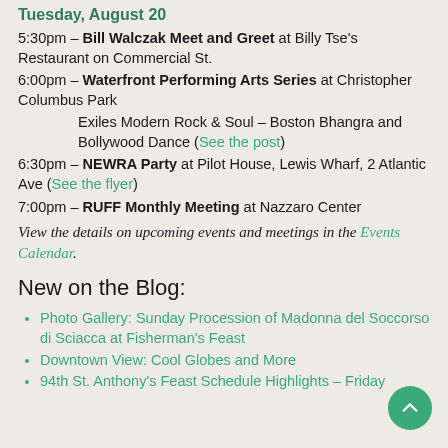Tuesday, August 20
5:30pm – Bill Walczak Meet and Greet at Billy Tse's Restaurant on Commercial St.
6:00pm – Waterfront Performing Arts Series at Christopher Columbus Park
Exiles Modern Rock & Soul – Boston Bhangra and Bollywood Dance (See the post)
6:30pm – NEWRA Party at Pilot House, Lewis Wharf, 2 Atlantic Ave (See the flyer)
7:00pm – RUFF Monthly Meeting at Nazzaro Center
View the details on upcoming events and meetings in the Events Calendar.
New on the Blog:
Photo Gallery: Sunday Procession of Madonna del Soccorso di Sciacca at Fisherman's Feast
Downtown View: Cool Globes and More
94th St. Anthony's Feast Schedule Highlights – Friday